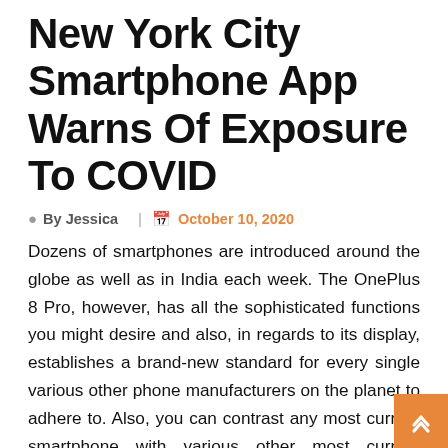New York City Smartphone App Warns Of Exposure To COVID
By Jessica | October 10, 2020
Dozens of smartphones are introduced around the globe as well as in India each week. The OnePlus 8 Pro, however, has all the sophisticated functions you might desire and also, in regards to its display, establishes a brand-new standard for every single various other phone manufacturers on the planet to adhere to. Also, you can contrast any most current smartphone with various other most current smartphones too. Discover everything